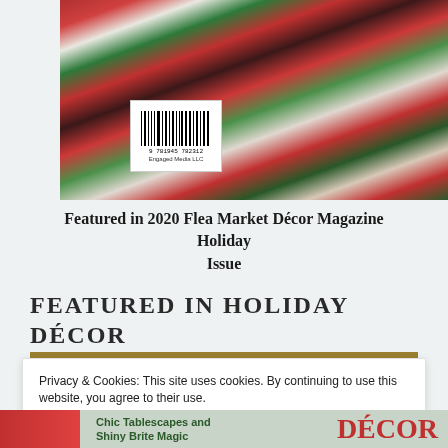[Figure (photo): Magazine cover photo showing Christmas gifts and decorations under a tree with colorful wrapped presents, with a barcode visible in the lower left corner of the cover]
Featured in 2020 Flea Market Décor Magazine Holiday Issue
FEATURED IN HOLIDAY DÉCOR MAGAZINE
106 PAGES OF FESTIVE HOMES IN EVERY STYLE!
Privacy & Cookies: This site uses cookies. By continuing to use this website, you agree to their use.
To find out more, including how to control cookies, see here: Cookie Policy
Close and accept
Chic Tablescapes and Shiny Brite Magic